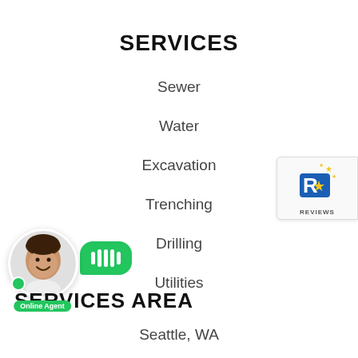SERVICES
Sewer
Water
Excavation
Trenching
Drilling
Utilities
[Figure (logo): ReviewsII badge with star icon and blue/gold colors]
[Figure (photo): Online chat agent widget: circular photo of man smiling, green dot, green chat bubble with bars, 'Online Agent' label]
SERVICES AREA
Seattle, WA